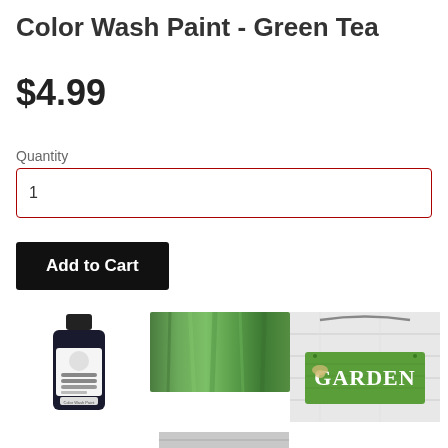Color Wash Paint - Green Tea
$4.99
Quantity
1
Add to Cart
[Figure (photo): Small dark bottle of Color Wash Paint - Green Tea with a label showing a bird logo]
[Figure (photo): Green painted wood texture swatch showing the Green Tea color]
[Figure (photo): Wooden garden sign painted green with the word GARDEN in white, decorated with dragonfly and flowers, hung with wire]
[Figure (photo): Partially visible image at the bottom of the page, appears to be another product or swatch image]